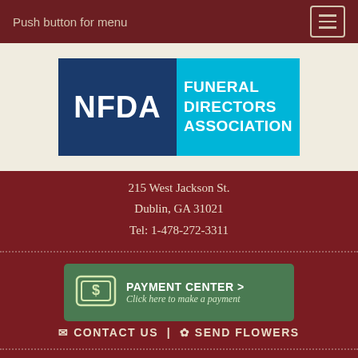Push button for menu
[Figure (logo): NFDA - National Funeral Directors Association logo. Left half is dark blue with white bold text 'NFDA'. Right half is cyan/light blue with white bold text 'FUNERAL DIRECTORS ASSOCIATION'.]
215 West Jackson St.
Dublin, GA 31021
Tel: 1-478-272-3311
[Figure (infographic): Green payment button with dollar sign icon, text 'PAYMENT CENTER >' and italic subtitle 'Click here to make a payment']
✉ CONTACT US  |  ✿ SEND FLOWERS